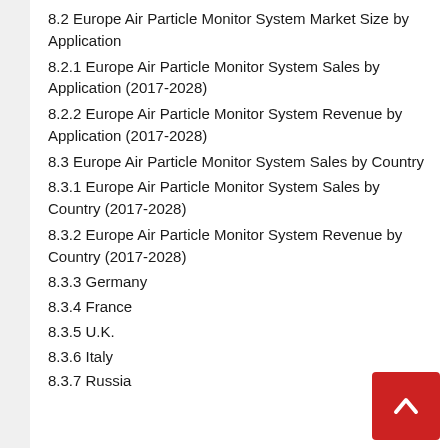8.2 Europe Air Particle Monitor System Market Size by Application
8.2.1 Europe Air Particle Monitor System Sales by Application (2017-2028)
8.2.2 Europe Air Particle Monitor System Revenue by Application (2017-2028)
8.3 Europe Air Particle Monitor System Sales by Country
8.3.1 Europe Air Particle Monitor System Sales by Country (2017-2028)
8.3.2 Europe Air Particle Monitor System Revenue by Country (2017-2028)
8.3.3 Germany
8.3.4 France
8.3.5 U.K.
8.3.6 Italy
8.3.7 Russia